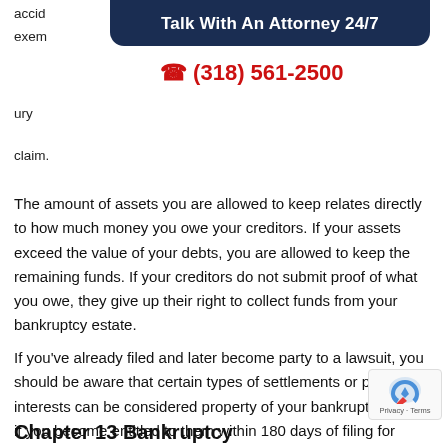accid... exem... ury claim.
[Figure (other): Dark navy blue banner with white bold text reading 'Talk With An Attorney 24/7']
☎ (318) 561-2500
The amount of assets you are allowed to keep relates directly to how much money you owe your creditors. If your assets exceed the value of your debts, you are allowed to keep the remaining funds. If your creditors do not submit proof of what you owe, they give up their right to collect funds from your bankruptcy estate.
If you've already filed and later become party to a lawsuit, you should be aware that certain types of settlements or property interests can be considered property of your bankruptcy estate if you become entitled to them within 180 days of filing for bankruptcy.
Chapter 13 Bankruptcy